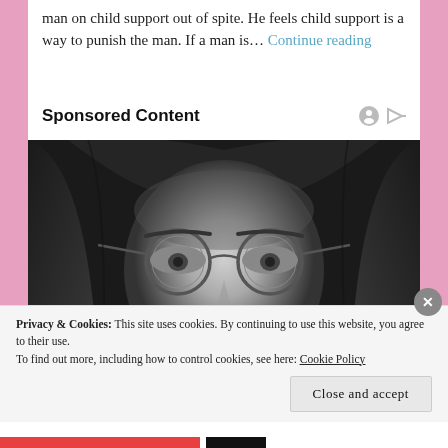man on child support out of spite. He feels child support is a way to punish the man. If a man is… Continue reading
Sponsored Content
[Figure (photo): Black and white close-up portrait of a young man with long dark hair wearing round wire-frame glasses, looking intensely at the camera.]
Privacy & Cookies: This site uses cookies. By continuing to use this website, you agree to their use. To find out more, including how to control cookies, see here: Cookie Policy
Close and accept